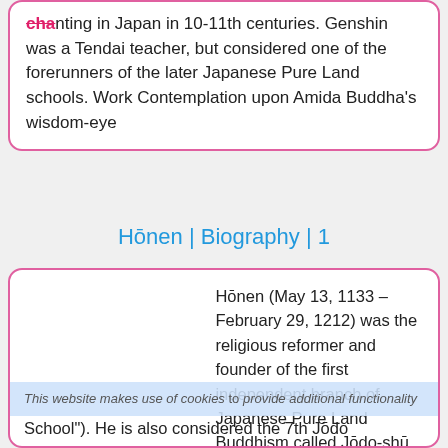chanting in Japan in 10-11th centuries. Genshin was a Tendai teacher, but considered one of the forerunners of the later Japanese Pure Land schools. Work Contemplation upon Amida Buddha's wisdom-eye
Hōnen | Biography | 1
Hōnen (May 13, 1133 – February 29, 1212) was the religious reformer and founder of the first independent branch of Japanese Pure Land Buddhism called Jōdo-shū ("The Pure Land School"). He is also considered the 7th Jōdo
This website makes use of cookies to provide additional functionality.